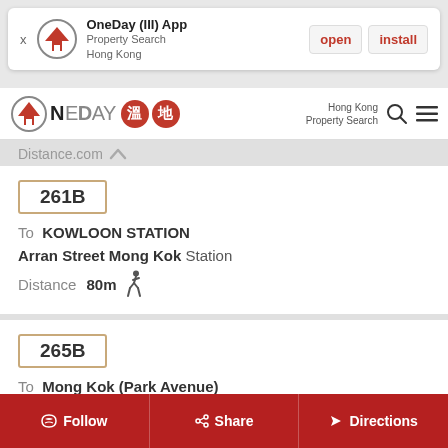[Figure (screenshot): App install banner for OneDay (III) App - Property Search Hong Kong, with open and install buttons]
[Figure (logo): OneDay property search Hong Kong logo with Chinese characters and search/menu icons]
Distance.com ^
261B
To KOWLOON STATION
Arran Street Mong Kok Station
Distance 80m (walking icon)
265B
To Mong Kok (Park Avenue)
Follow  Share  Directions